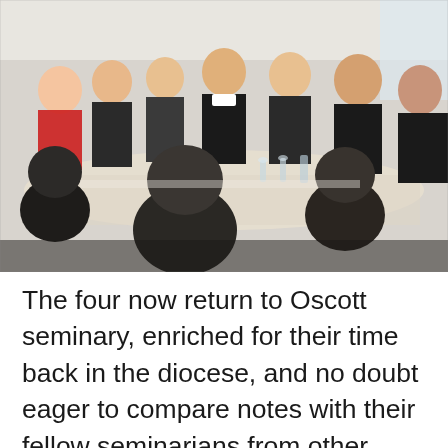[Figure (photo): Group of young men and older clergy seated around a long table in a dining or meeting room, smiling and conversing. The setting appears to be a seminary gathering.]
The four now return to Oscott seminary, enriched for their time back in the diocese, and no doubt eager to compare notes with their fellow seminarians from other dioceses. I am grateful to the parish priests who have responded generously to my request to host a student for their designated placement. I need hardly add how much our people like to see a student for the priesthood among them, for a seminarian represents a sign of hope and the